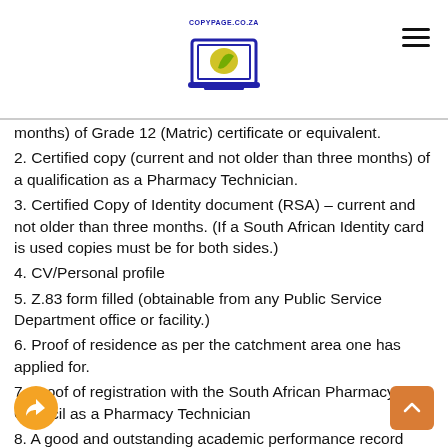COPYPAGE.CO.ZA
months) of Grade 12 (Matric) certificate or equivalent.
2. Certified copy (current and not older than three months) of a qualification as a Pharmacy Technician.
3. Certified Copy of Identity document (RSA) – current and not older than three months. (If a South African Identity card is used copies must be for both sides.)
4. CV/Personal profile
5. Z.83 form filled (obtainable from any Public Service Department office or facility.)
6. Proof of residence as per the catchment area one has applied for.
7. Proof of registration with the South African Pharmacy Council as a Pharmacy Technician
8. A good and outstanding academic performance record during schooling or other forms of training will be an added advantage.